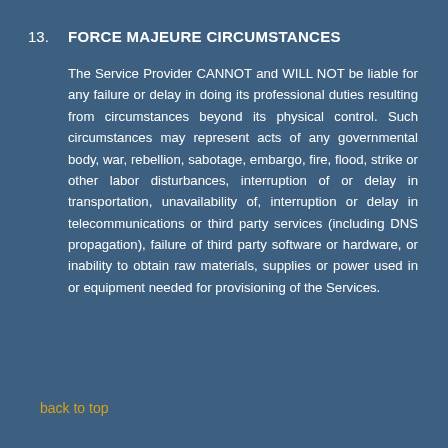13. FORCE MAJEURE CIRCUMSTANCES
The Service Provider CANNOT and WILL NOT be liable for any failure or delay in doing its professional duties resulting from circumstances beyond its physical control. Such circumstances may represent acts of any governmental body, war, rebellion, sabotage, embargo, fire, flood, strike or other labor disturbances, interruption of or delay in transportation, unavailability of, interruption or delay in telecommunications or third party services (including DNS propagation), failure of third party software or hardware, or inability to obtain raw materials, supplies or power used in or equipment needed for provisioning of the Services.
back to top